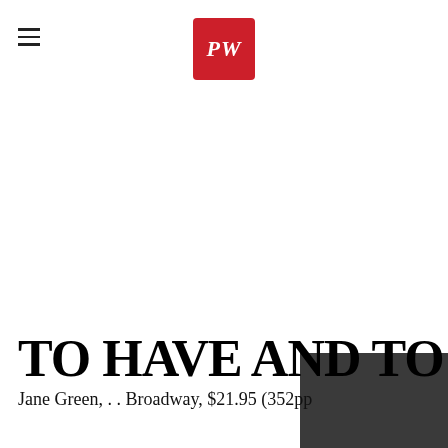PW (Publishers Weekly logo)
TO HAVE AND TO HOLD
Jane Green, . . Broadway, $21.95 (352pp